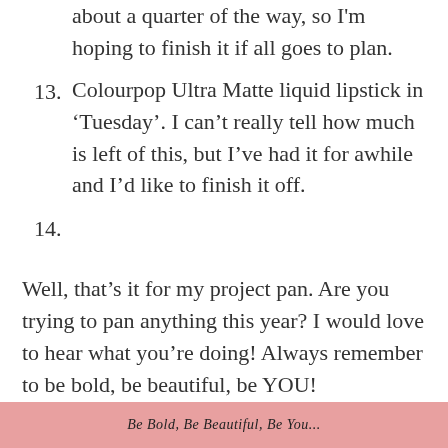about a quarter of the way, so I'm hoping to finish it if all goes to plan.
13. Colourpop Ultra Matte liquid lipstick in 'Tuesday'. I can't really tell how much is left of this, but I've had it for awhile and I'd like to finish it off.
14.
Well, that's it for my project pan. Are you trying to pan anything this year? I would love to hear what you're doing! Always remember to be bold, be beautiful, be YOU!
[Figure (photo): Bottom strip of an image showing what appears to be nail polish or lipstick, with partial text 'Be Bold, Be Beautiful, Be You' visible]